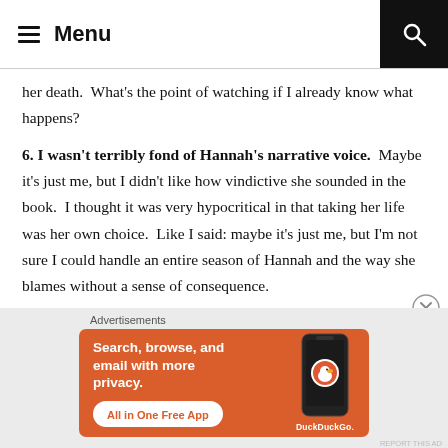Menu
her death.  What's the point of watching if I already know what happens?
6. I wasn't terribly fond of Hannah's narrative voice.  Maybe it's just me, but I didn't like how vindictive she sounded in the book.  I thought it was very hypocritical in that taking her life was her own choice.  Like I said: maybe it's just me, but I'm not sure I could handle an entire season of Hannah and the way she blames without a sense of consequence.
[Figure (screenshot): DuckDuckGo advertisement banner with orange background. Text reads: Search, browse, and email with more privacy. All in One Free App. Shows a phone with DuckDuckGo logo.]